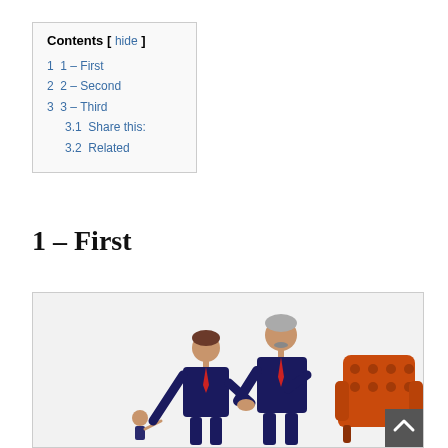Contents [ hide ] 1 1 – First 2 2 – Second 3 3 – Third 3.1 Share this: 3.2 Related
1 – First
[Figure (illustration): Illustration showing two businessmen in dark suits with red ties shaking hands, a child figure, and an orange armchair on the right side.]